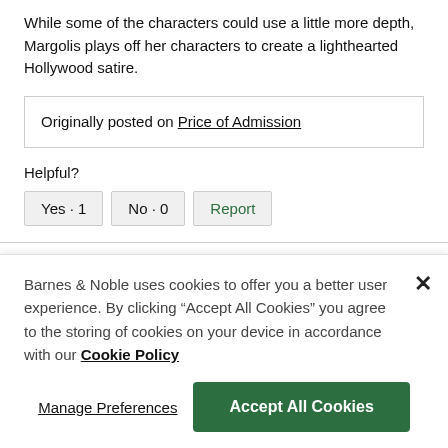While some of the characters could use a little more depth, Margolis plays off her characters to create a lighthearted Hollywood satire.
Originally posted on Price of Admission
Helpful?
Yes · 1   No · 0   Report
Barnes & Noble uses cookies to offer you a better user experience. By clicking "Accept All Cookies" you agree to the storing of cookies on your device in accordance with our Cookie Policy
Manage Preferences   Accept All Cookies